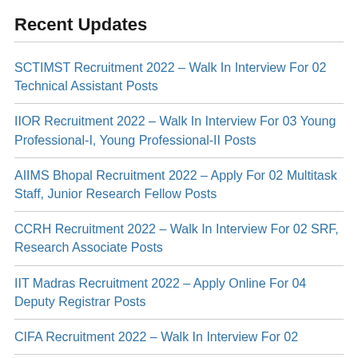Recent Updates
SCTIMST Recruitment 2022 – Walk In Interview For 02 Technical Assistant Posts
IIOR Recruitment 2022 – Walk In Interview For 03 Young Professional-I, Young Professional-II Posts
AIIMS Bhopal Recruitment 2022 – Apply For 02 Multitask Staff, Junior Research Fellow Posts
CCRH Recruitment 2022 – Walk In Interview For 02 SRF, Research Associate Posts
IIT Madras Recruitment 2022 – Apply Online For 04 Deputy Registrar Posts
CIFA Recruitment 2022 – Walk In Interview For 02